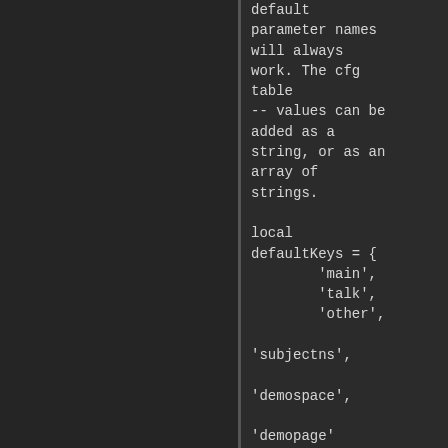default parameter names will always work. The cfg table -- values can be added as a string, or as an array of strings.

local defaultKeys = {
        'main',
        'talk',
        'other',

'subjectns',

'demospace',

'demopage'
}

local argKeys =